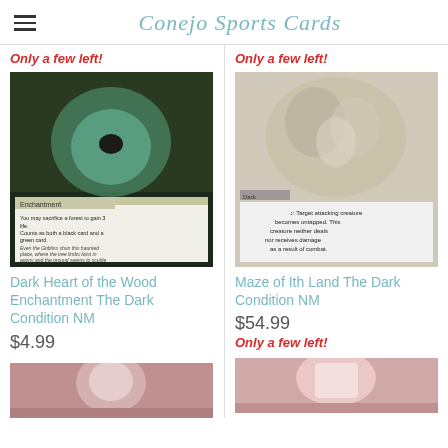Conejo Sports Cards
Only a few left!
Only a few left!
[Figure (photo): Magic: The Gathering card - Dark Heart of the Wood Enchantment from The Dark set]
[Figure (photo): Magic: The Gathering card - Maze of Ith Land from The Dark set]
Dark Heart of the Wood Enchantment The Dark Condition NM
$4.99
Maze of Ith Land The Dark Condition NM
$54.99
Only a few left!
[Figure (photo): Magic card bottom left - partially visible]
[Figure (photo): Magic card bottom right - partially visible]